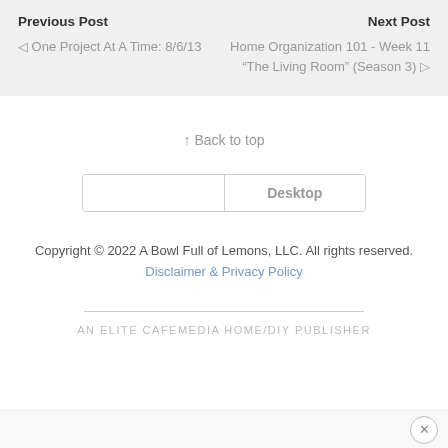Previous Post
◁ One Project At A Time: 8/6/13
Next Post
Home Organization 101 - Week 11 "The Living Room" (Season 3) ▷
↑ Back to top
Desktop
Copyright © 2022 A Bowl Full of Lemons, LLC. All rights reserved. Disclaimer & Privacy Policy
AN ELITE CAFEMEDIA HOME/DIY PUBLISHER